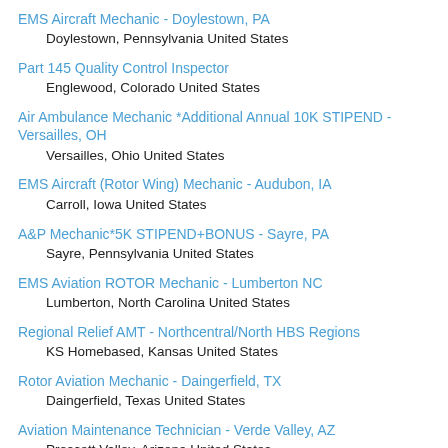EMS Aircraft Mechanic - Doylestown, PA
        Doylestown, Pennsylvania United States
Part 145 Quality Control Inspector
        Englewood, Colorado United States
Air Ambulance Mechanic *Additional Annual 10K STIPEND - Versailles, OH
        Versailles, Ohio United States
EMS Aircraft (Rotor Wing) Mechanic - Audubon, IA
        Carroll, Iowa United States
A&P Mechanic*5K STIPEND+BONUS - Sayre, PA
        Sayre, Pennsylvania United States
EMS Aviation ROTOR Mechanic - Lumberton NC
        Lumberton, North Carolina United States
Regional Relief AMT - Northcentral/North HBS Regions
        KS Homebased, Kansas United States
Rotor Aviation Mechanic - Daingerfield, TX
        Daingerfield, Texas United States
Aviation Maintenance Technician - Verde Valley, AZ
        Prescott Valley, Arizona United States
Aircraft (Rotor Wing) Mechanic - Frederick, CO
        Frederick, Colorado United States